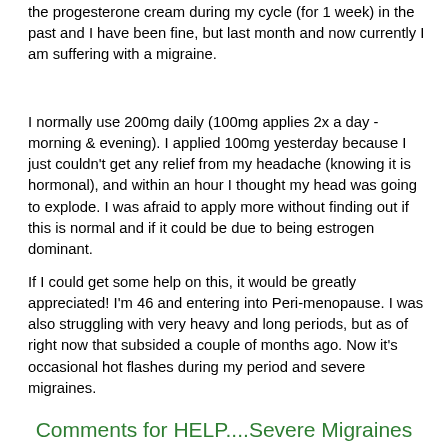the progesterone cream during my cycle (for 1 week) in the past and I have been fine, but last month and now currently I am suffering with a migraine.
I normally use 200mg daily (100mg applies 2x a day - morning & evening). I applied 100mg yesterday because I just couldn't get any relief from my headache (knowing it is hormonal), and within an hour I thought my head was going to explode. I was afraid to apply more without finding out if this is normal and if it could be due to being estrogen dominant.
If I could get some help on this, it would be greatly appreciated! I'm 46 and entering into Peri-menopause. I was also struggling with very heavy and long periods, but as of right now that subsided a couple of months ago. Now it's occasional hot flashes during my period and severe migraines.
Comments for HELP....Severe Migraines
Click here to add your own comments
Dec 27, 2018    HELP .... Severe Migraines
by: Joy
Hi Sharon